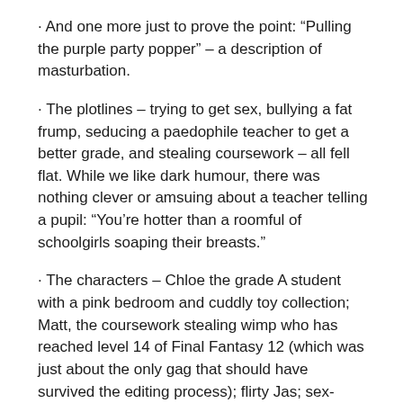· And one more just to prove the point: “Pulling the purple party popper” – a description of masturbation.
· The plotlines – trying to get sex, bullying a fat frump, seducing a paedophile teacher to get a better grade, and stealing coursework – all fell flat. While we like dark humour, there was nothing clever or amsuing about a teacher telling a pupil: “You’re hotter than a roomful of schoolgirls soaping their breasts.”
· The characters – Chloe the grade A student with a pink bedroom and cuddly toy collection; Matt, the coursework stealing wimp who has reached level 14 of Final Fantasy 12 (which was just about the only gag that should have survived the editing process); flirty Jas; sex-obsessed Ollie; and DK, the stupid one.